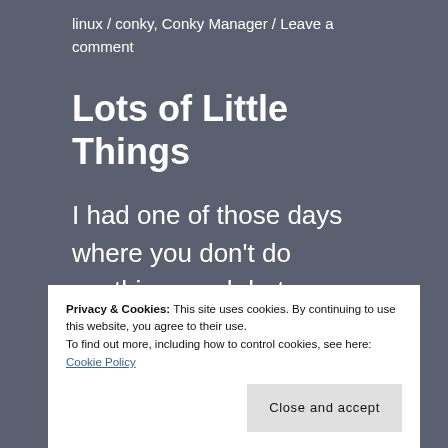linux / conky, Conky Manager / Leave a comment
Lots of Little Things
I had one of those days where you don't do anything much but seem to have a number of small successes.
Privacy & Cookies: This site uses cookies. By continuing to use this website, you agree to their use.
To find out more, including how to control cookies, see here:
Cookie Policy
Close and accept